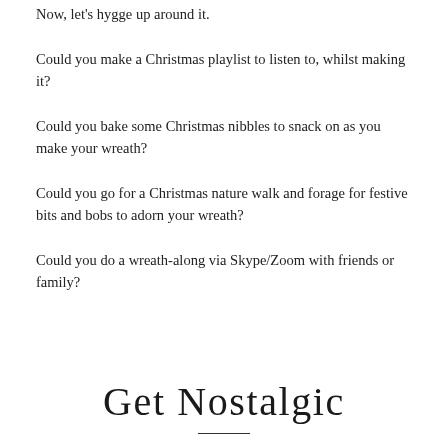Now, let's hygge up around it.
Could you make a Christmas playlist to listen to, whilst making it?
Could you bake some Christmas nibbles to snack on as you make your wreath?
Could you go for a Christmas nature walk and forage for festive bits and bobs to adorn your wreath?
Could you do a wreath-along via Skype/Zoom with friends or family?
Get Nostalgic